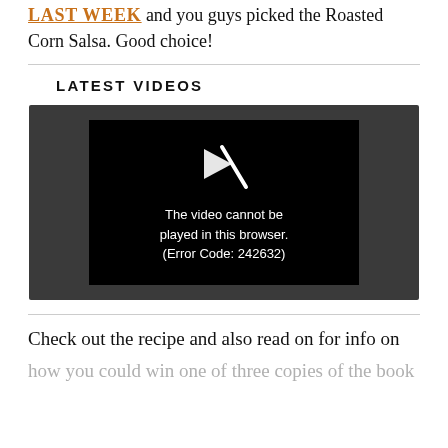LAST WEEK and you guys picked the Roasted Corn Salsa. Good choice!
LATEST VIDEOS
[Figure (screenshot): Video player showing error message: 'The video cannot be played in this browser. (Error Code: 242632)']
Check out the recipe and also read on for info on
how you could win one of three copies of the book